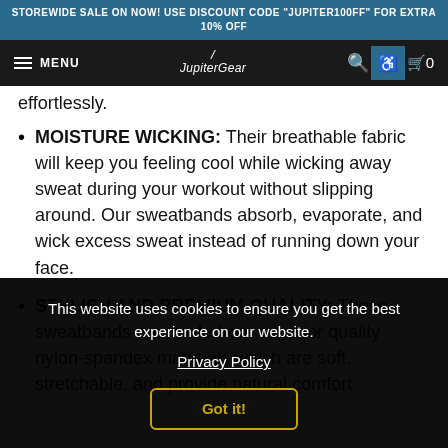STOREWIDE SALE ON NOW! USE DISCOUNT CODE 'JUPITER100FF' FOR EXTRA 10% OFF
[Figure (screenshot): JupiterGear navigation bar with hamburger menu, logo, search icon, accessibility icon, and cart icon]
effortlessly.
MOISTURE WICKING: Their breathable fabric will keep you feeling cool while wicking away sweat during your workout without slipping around. Our sweatbands absorb, evaporate, and wick excess sweat instead of running down your face.
STYLISH AND PREMIUM QUALITY: These sweatbands are made from superior quality nylon-spandex materials which are soft, stretchable, and provide natural comfort
This website uses cookies to ensure you get the best experience on our website. Privacy Policy
Got it!